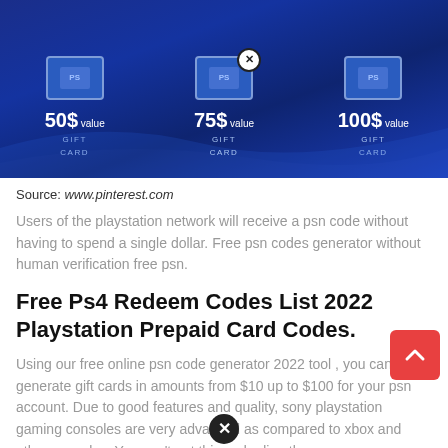[Figure (illustration): PlayStation Network gift cards showing 50$ value, 75$ value, and 100$ value gift cards on a dark blue background]
Source: www.pinterest.com
Users of the playstation network will receive a psn code without having to spend a single dollar. Free psn codes generator without human verification free psn.
Free Ps4 Redeem Codes List 2022 Playstation Prepaid Card Codes.
Using our free online psn code generator 2022 tool , you can generate gift cards in amounts from $10 up to $100 for your psn account. Due to good features and quality, sony playstation gaming consoles are very advanced as compared to xbox and other consoles. You can't get this code directly.